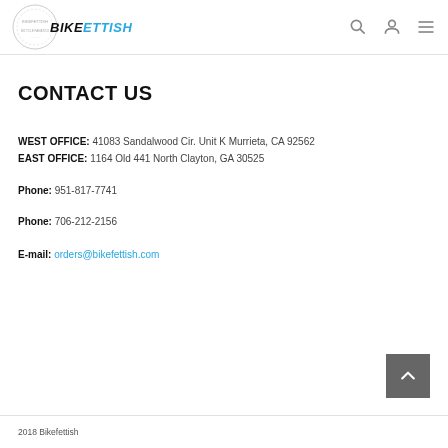BIKEFETTISH logo and navigation
CONTACT US
WEST OFFICE: 41083 Sandalwood Cir. Unit K Murrieta, CA 92562
EAST OFFICE: 1164 Old 441 North Clayton, GA 30525
Phone: 951-817-7741
Phone: 706-212-2156
E-mail: orders@bikefettish.com
2018 Bikefettish